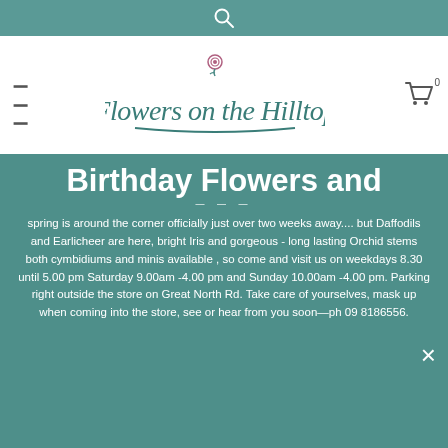Search icon top bar
[Figure (logo): Flowers on the Hilltop floral shop logo with cursive script and rose icon]
Birthday Flowers and
spring is around the corner officially just over two weeks away.... but Daffodils and Earlicheer are here, bright Iris and gorgeous - long lasting Orchid stems both cymbidiums and minis available , so come and visit us on weekdays 8.30 until 5.00 pm Saturday 9.00am -4.00 pm and Sunday 10.00am -4.00 pm. Parking right outside the store on Great North Rd. Take care of yourselves, mask up when coming into the store, see or hear from you soon—ph 09 8186556.